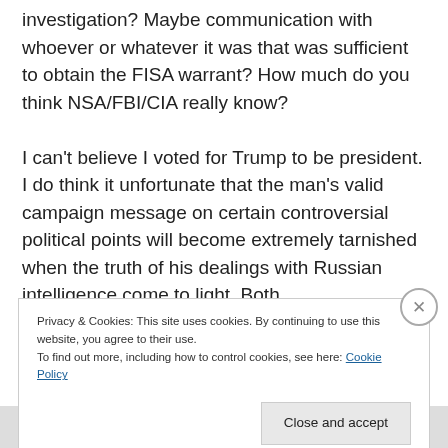investigation? Maybe communication with whoever or whatever it was that was sufficient to obtain the FISA warrant? How much do you think NSA/FBI/CIA really know?

I can't believe I voted for Trump to be president. I do think it unfortunate that the man's valid campaign message on certain controversial political points will become extremely tarnished when the truth of his dealings with Russian intelligence come to light. Both
Privacy & Cookies: This site uses cookies. By continuing to use this website, you agree to their use.
To find out more, including how to control cookies, see here: Cookie Policy
Close and accept